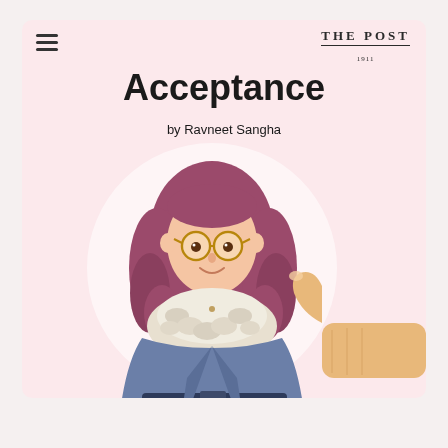THE POST
Acceptance
by Ravneet Sangha
[Figure (illustration): Illustrated woman with curly reddish-brown hair, round glasses, wearing a blue coat with a white fur collar, smiling. To her right, a hand giving a thumbs-up gesture. Background has a soft white circular glow on pink.]